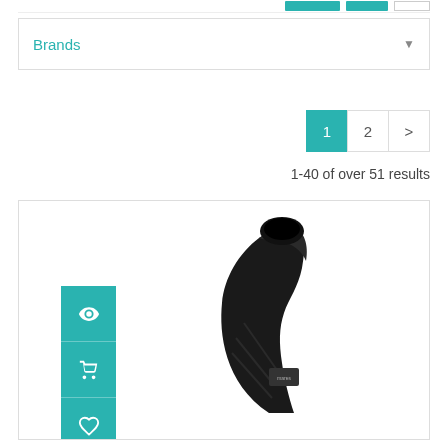Brands
1-40 of over 51 results
[Figure (screenshot): E-commerce product listing page showing Brands filter dropdown, pagination controls (1, 2, >), results count '1-40 of over 51 results', and a product card with a black diving fin with action buttons (view, cart, wishlist) on the left side.]